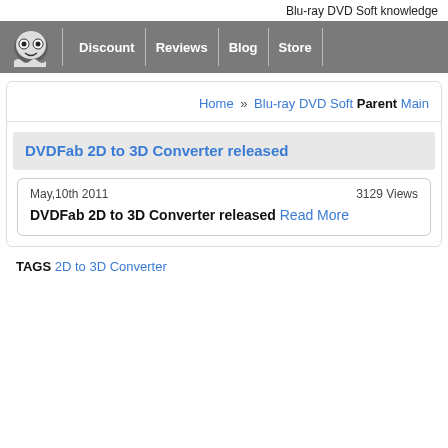Blu-ray DVD Soft knowledge
[Figure (logo): Ghost/frog mascot logo icon in navigation bar]
Discount | Reviews | Blog | Store
Home » Blu-ray DVD Soft Parent Main
DVDFab 2D to 3D Converter released
May,10th 2011   3129 Views   DVDFab 2D to 3D Converter released Read More
TAGS 2D to 3D Converter